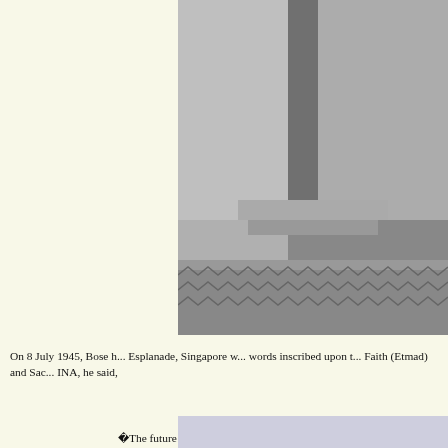[Figure (photo): Black and white historical photograph showing a person standing near a building or monument, partially visible on the right side of the page.]
On 8 July 1945, Bose h... Esplanade, Singapore w... words inscribed upon t... Faith (Etmad) and Sac... INA, he said,
ï¿½The future g... as free men, bec... and proudly pro... suffered reverses... through tempora... glory.ï¿½
When the British retur... Southeast Asia Comma...
[Figure (photo): Partial view of another historical photograph at the bottom right of the page.]